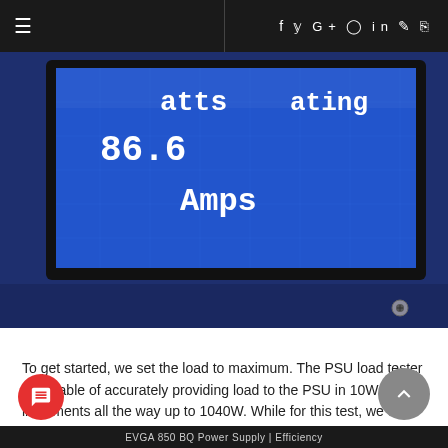≡   f  y  G+  ⊙  in  ⚙  ⌘
[Figure (photo): Close-up photo of a blue LCD display on a PSU load tester showing text: 'Watts 86.6  Rating Amps']
To get started, we set the load to maximum. The PSU load tester is capable of accurately providing load to the PSU in 10W increments all the way up to 1040W. While for this test, we don't need that level of incrementation, we will take our measurements every 50W of load.
EVGA 850 BQ Power Supply | Efficiency